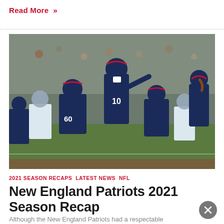Read More »
[Figure (photo): New England Patriots quarterback #10 calling plays at the line of scrimmage with offensive linemen #60 and teammates in navy blue uniforms at an NFL game against a team in white/light blue uniforms, crowd in background]
2021 SEASON RECAPS LATEST NEWS NFL
New England Patriots 2021 Season Recap
Although the New England Patriots had a respectable